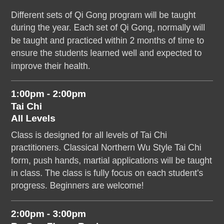Different sets of Qi Gong program will be taught during the year. Each set of Qi Gong, normally will be taught and practiced within 2 months of time to ensure the students learned well and expected to improve their health.
1:00pm - 2:00pm
Tai Chi
All Levels
Class is designed for all levels of Tai Chi practitioners. Classical Northern Wu Style Tai Chi form, push hands, martial applications will be taught in class. The class is fully focus on each student's progress. Beginners are welcome!
2:00pm - 3:00pm
Ba Gua Zhang Beginners
Class focus on learning the basic Cheng Style Ba Gua Zhang form for beginners.